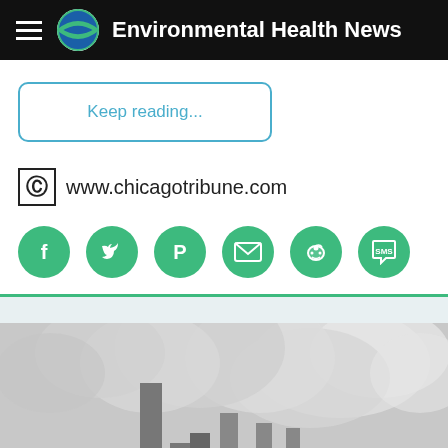Environmental Health News
Keep reading...
www.chicagotribune.com
[Figure (other): Social sharing buttons: Facebook, Twitter, Pinterest, Email, Reddit, SMS]
[Figure (photo): Black and white photograph of industrial smokestacks emitting large clouds of smoke/steam]